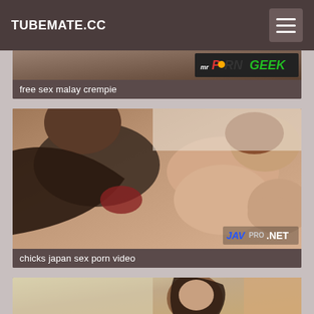TUBEMATE.CC
free sex malay crempie
[Figure (photo): Video thumbnail for chicks japan sex porn video with JAVPRO.NET watermark]
chicks japan sex porn video
[Figure (photo): Partial video thumbnail at bottom of page]